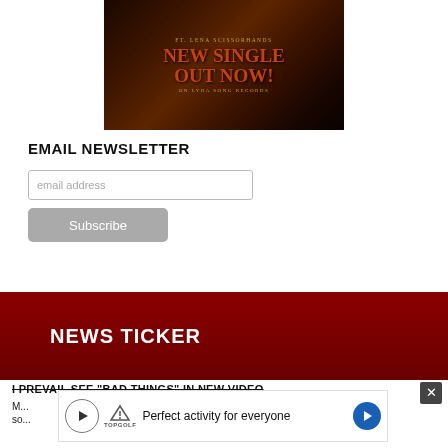[Figure (illustration): Dark fantasy promotional image for a music single. Text reads 'FT. LENA SCISSORHANDS' in gold, 'NEW SINGLE OUT NOW!' in large orange-red letters, 'ON LYRA SONG RECORDS' in gold. Dark atmospheric background with moody lighting.]
EMAIL NEWSLETTER
email address
Subscribe
NEWS TICKER
I PREVAIL SEE "BAD THINGS" IN NEW VIDEO
M... some... ...song...
[Figure (screenshot): Advertisement overlay for Topgolf: 'Perfect activity for everyone' with Topgolf logo, play button icon, and blue arrow button]